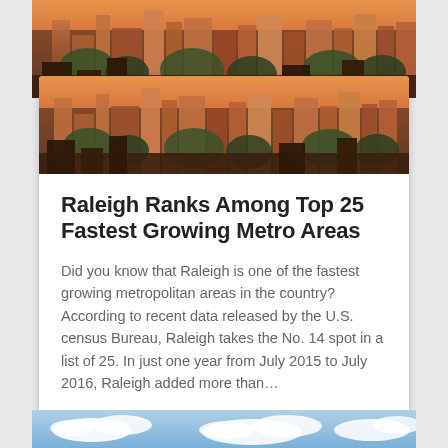[Figure (photo): City skyline photo of Raleigh at dusk/sunset with buildings and trees]
Raleigh Ranks Among Top 25 Fastest Growing Metro Areas
Did you know that Raleigh is one of the fastest growing metropolitan areas in the country? According to recent data released by the U.S. census Bureau, Raleigh takes the No. 14 spot in a list of 25. In just one year from July 2015 to July 2016, Raleigh added more than…
[Figure (photo): Partial blue sky with clouds photo at bottom of page]